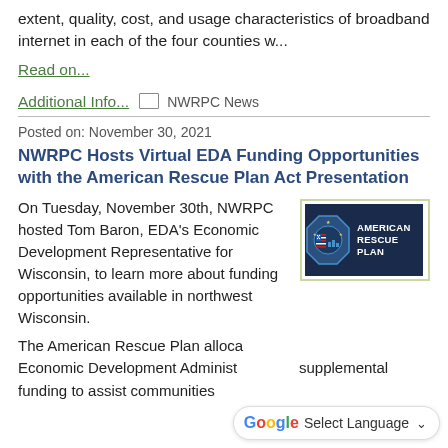extent, quality, cost, and usage characteristics of broadband internet in each of the four counties w...
Read on...
Additional Info...  NWRPC News
Posted on: November 30, 2021
NWRPC Hosts Virtual EDA Funding Opportunities with the American Rescue Plan Act Presentation
On Tuesday, November 30th, NWRPC hosted Tom Baron, EDA's Economic Development Representative for Wisconsin, to learn more about funding opportunities available in northwest Wisconsin.
[Figure (logo): American Rescue Plan badge/logo on dark navy background]
The American Rescue Plan allocated $3 billion to the Economic Development Administration as supplemental funding to assist communities